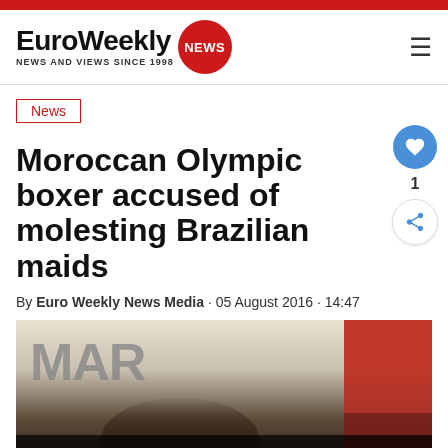[Figure (logo): EuroWeekly NEWS logo with red circle badge]
News
Moroccan Olympic boxer accused of molesting Brazilian maids
By Euro Weekly News Media · 05 August 2016 · 14:47
[Figure (photo): Moroccan Olympic boxer at MAR sign event, with crowd in background]